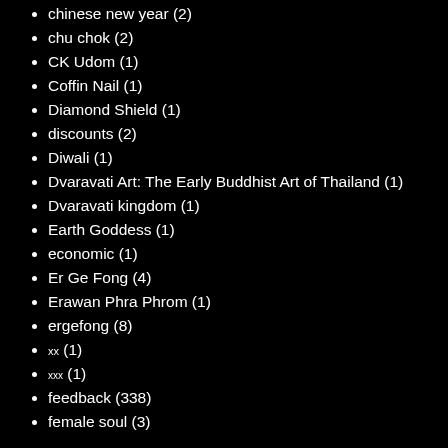chinese new year (2)
chu chok (2)
CK Udom (1)
Coffin Nail (1)
Diamond Shield (1)
discounts (2)
Diwali (1)
Dvaravati Art: The Early Buddhist Art of Thailand (1)
Dvaravati kingdom (1)
Earth Goddess (1)
economic (1)
Er Ge Fong (4)
Erawan Phra Phrom (1)
ergefong (8)
xx (1)
xxx (1)
feedback (338)
female soul (3)